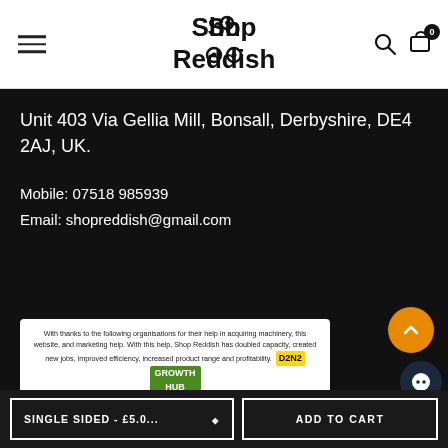Shop Reddish
Unit 403 Via Gellia Mill, Bonsall, Derbyshire, DE4 2AJ, UK.
Mobile: 07518 985939
Email: shopreddish@gmail.com
[Figure (infographic): Acknowledgement card thanking organisations for help in acquiring machinery, website, and marketing help. With this help, Shop Reddish has doubled capacity, created new jobs, improved efficiency, increased product range and profitability. It is part-funded by the European Agricultural Fund for Rural Development. Shows D2N2 Growth Hub logo.]
SINGLE SIDED - £5.0...
ADD TO CART